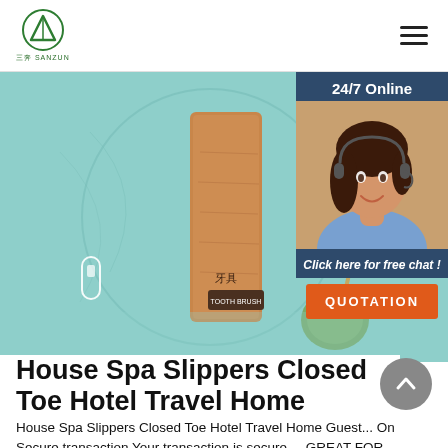三奔 SANZUN logo and navigation hamburger menu
[Figure (photo): Product photo showing a bamboo toothbrush case labeled 牙具 / TOOTH BRUSH with a ceramic holder and a toothbrush, on a teal/mint background with circular design]
[Figure (photo): 24/7 Online chat agent: smiling woman with headset on dark blue background, with 'Click here for free chat!' and orange QUOTATION button]
House Spa Slippers Closed Toe Hotel Travel Home Guest
House Spa Slippers Closed Toe Hotel Travel Home Guest... On Secure transaction Your transaction is secure ... GREAT FOR GUESTS ON A NO SHOES HOUSE - if you are looking for some slippers to keep shoes away from your carpets or wood floor.